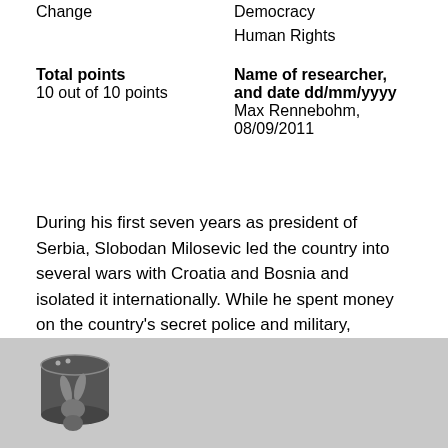Change
Democracy
Human Rights
Total points
10 out of 10 points
Name of researcher, and date dd/mm/yyyy
Max Rennebohm,
08/09/2011
During his first seven years as president of Serbia, Slobodan Milosevic led the country into several wars with Croatia and Bosnia and isolated it internationally. While he spent money on the country's secret police and military, unemployment reached as high as 50 percent before 1996. Citizens led several anti-war and pro-democracy campaigns in the early '90s, but failed due to lack of outside support. Opposition groups continued both violent and non-violent struggles against the regime, but neither was having any success.
[Figure (logo): Database with rabbit/access logo icon in bottom footer area]